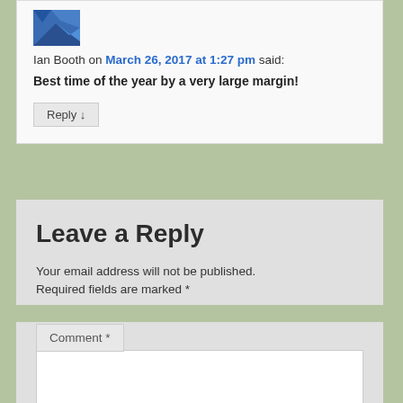Ian Booth on March 26, 2017 at 1:27 pm said:
Best time of the year by a very large margin!
Reply
Leave a Reply
Your email address will not be published. Required fields are marked *
Comment *